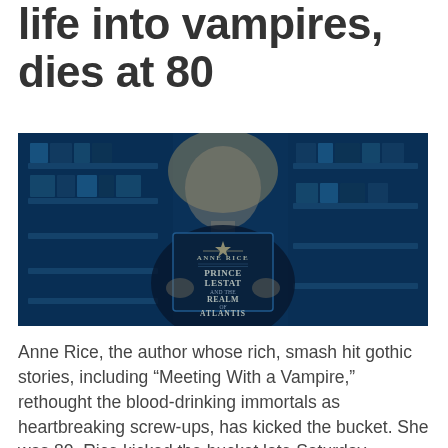life into vampires, dies at 80
[Figure (photo): Anne Rice holding a copy of her book 'Prince Lestat and the Realms of Atlantis' in a bookstore, photo tinted in dark blue]
Anne Rice, the author whose rich, smash hit gothic stories, including “Meeting With a Vampire,” rethought the blood-drinking immortals as heartbreaking screw-ups, has kicked the bucket. She was 80. Rice kicked the bucket late Saturday because of inconveniences from a stroke, her